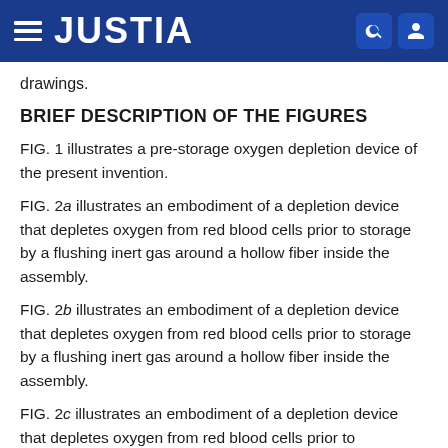JUSTIA
drawings.
BRIEF DESCRIPTION OF THE FIGURES
FIG. 1 illustrates a pre-storage oxygen depletion device of the present invention.
FIG. 2a illustrates an embodiment of a depletion device that depletes oxygen from red blood cells prior to storage by a flushing inert gas around a hollow fiber inside the assembly.
FIG. 2b illustrates an embodiment of a depletion device that depletes oxygen from red blood cells prior to storage by a flushing inert gas around a hollow fiber inside the assembly.
FIG. 2c illustrates an embodiment of a depletion device that depletes oxygen from red blood cells prior to...